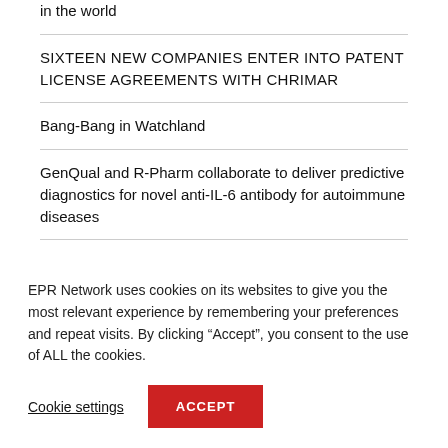in the world
SIXTEEN NEW COMPANIES ENTER INTO PATENT LICENSE AGREEMENTS WITH CHRIMAR
Bang-Bang in Watchland
GenQual and R-Pharm collaborate to deliver predictive diagnostics for novel anti-IL-6 antibody for autoimmune diseases
Discount Airport Parking Website Announces Expansion Plans
EPR Network uses cookies on its websites to give you the most relevant experience by remembering your preferences and repeat visits. By clicking “Accept”, you consent to the use of ALL the cookies.
Cookie settings | ACCEPT